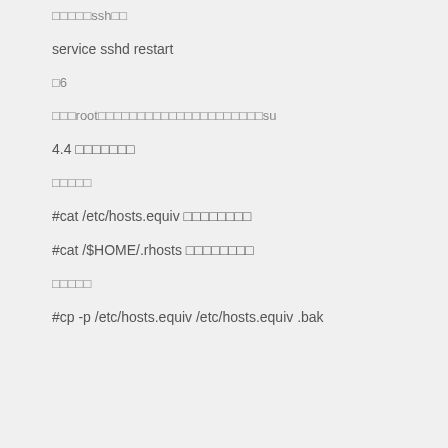□□□□□ssh□□
service sshd restart
□6
□□□root□□□□□□□□□□□□□□□□□□□□□su
4.4 □□□□□□□
□□□□□
#cat /etc/hosts.equiv □□□□□□□□
#cat /$HOME/.rhosts □□□□□□□□
□□□□□
#cp -p /etc/hosts.equiv /etc/hosts.equiv .bak